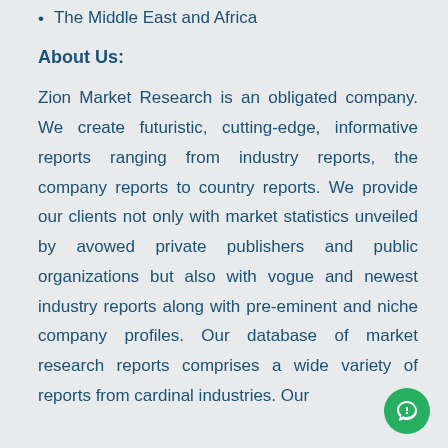The Middle East and Africa
About Us:
Zion Market Research is an obligated company. We create futuristic, cutting-edge, informative reports ranging from industry reports, the company reports to country reports. We provide our clients not only with market statistics unveiled by avowed private publishers and public organizations but also with vogue and newest industry reports along with pre-eminent and niche company profiles. Our database of market research reports comprises a wide variety of reports from cardinal industries. Our